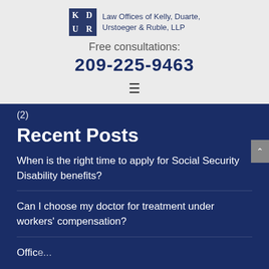[Figure (logo): Law Offices of Kelly, Duarte, Urstoeger & Ruble, LLP logo with KDUR initials in dark navy square]
Free consultations:
209-225-9463
(2)
Recent Posts
When is the right time to apply for Social Security Disability benefits?
Can I choose my doctor for treatment under workers' compensation?
Office...